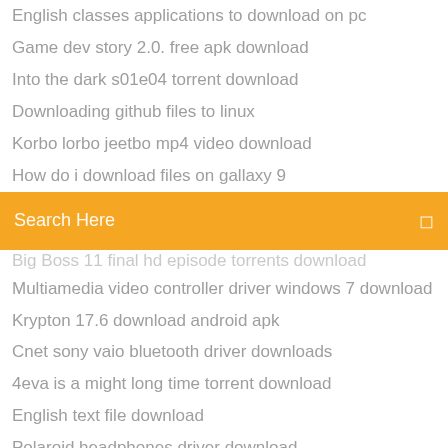English classes applications to download on pc
Game dev story 2.0. free apk download
Into the dark s01e04 torrent download
Downloading github files to linux
Korbo lorbo jeetbo mp4 video download
How do i download files on gallaxy 9
[Figure (screenshot): Orange search bar with text 'Search Here' and a small icon on the right]
Big Boss 11 final hd episode torrents download
Multiamedia video controller driver windows 7 download
Krypton 17.6 download android apk
Cnet sony vaio bluetooth driver downloads
4eva is a might long time torrent download
English text file download
Polaroid headphones driver download
How to download popcorn time for android
Android download a file from url
Ps3 4.55 update download ps4 jailbreak games download
Download pdf to nexus 7